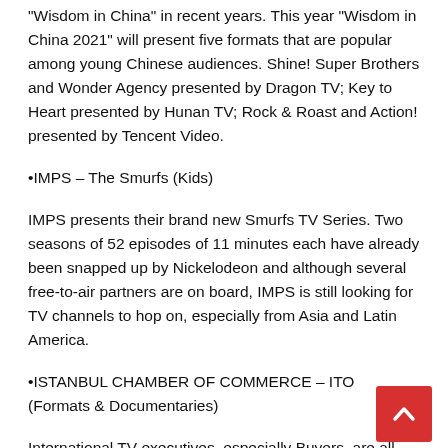“Wisdom in China” in recent years. This year “Wisdom in China 2021” will present five formats that are popular among young Chinese audiences. Shine! Super Brothers and Wonder Agency presented by Dragon TV; Key to Heart presented by Hunan TV; Rock & Roast and Action! presented by Tencent Video.
•IMPS – The Smurfs (Kids)
IMPS presents their brand new Smurfs TV Series. Two seasons of 52 episodes of 11 minutes each have already been snapped up by Nickelodeon and although several free-to-air partners are on board, IMPS is still looking for TV channels to hop on, especially from Asia and Latin America.
•ISTANBUL CHAMBER OF COMMERCE – ITO (Formats & Documentaries)
International TV executives, especially Buyers, are all eyes and ears when coming to Turkish content. This session will highlight recognised success stories and bring fresh new